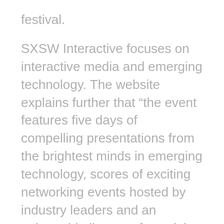festival.
SXSW Interactive focuses on interactive media and emerging technology. The website explains further that “the event features five days of compelling presentations from the brightest minds in emerging technology, scores of exciting networking events hosted by industry leaders and an unbeatable line-up of special programs showcasing the best new websites, video games and startup ideas the community has to offer. From hands-on training to big-picture analysis of the future, SXSW Interactive has become the place to experience a preview of what is unfolding in the world of technology.” Cool, huh?